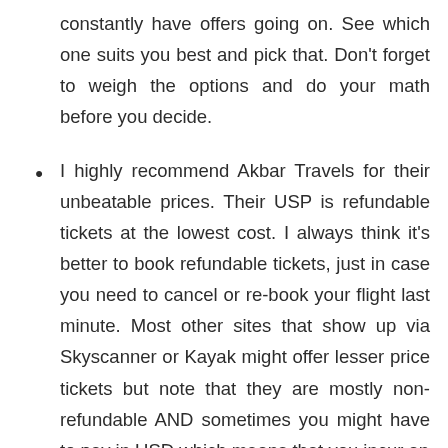constantly have offers going on. See which one suits you best and pick that. Don't forget to weigh the options and do your math before you decide.
I highly recommend Akbar Travels for their unbeatable prices. Their USP is refundable tickets at the lowest cost. I always think it's better to book refundable tickets, just in case you need to cancel or re-book your flight last minute. Most other sites that show up via Skyscanner or Kayak might offer lesser price tickets but note that they are mostly non-refundable AND sometimes you might have to pay in USD which means that you incur an